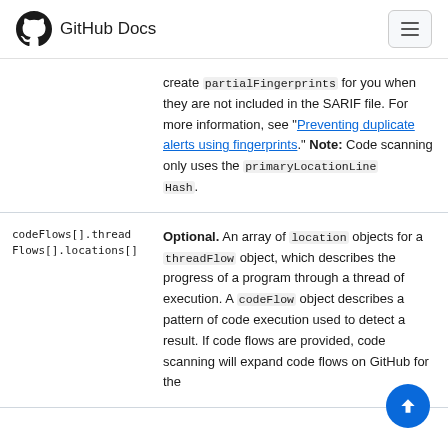GitHub Docs
create partialFingerprints for you when they are not included in the SARIF file. For more information, see "Preventing duplicate alerts using fingerprints." Note: Code scanning only uses the primaryLocationLineHash.
| Property | Description |
| --- | --- |
| codeFlows[].threadFlows[].locations[] | Optional. An array of location objects for a threadFlow object, which describes the progress of a program through a thread of execution. A codeFlow object describes a pattern of code execution used to detect a result. If code flows are provided, code scanning will expand code flows on GitHub for the |